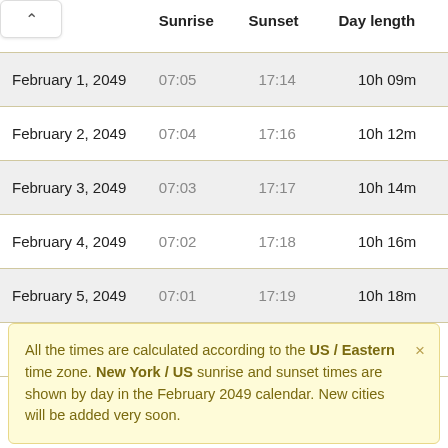|  | Sunrise | Sunset | Day length |
| --- | --- | --- | --- |
| February 1, 2049 | 07:05 | 17:14 | 10h 09m |
| February 2, 2049 | 07:04 | 17:16 | 10h 12m |
| February 3, 2049 | 07:03 | 17:17 | 10h 14m |
| February 4, 2049 | 07:02 | 17:18 | 10h 16m |
| February 5, 2049 | 07:01 | 17:19 | 10h 18m |
| February 6, 2049 | 07:00 | 17:20 | 10h 20m |
All the times are calculated according to the US / Eastern time zone. New York / US sunrise and sunset times are shown by day in the February 2049 calendar. New cities will be added very soon.